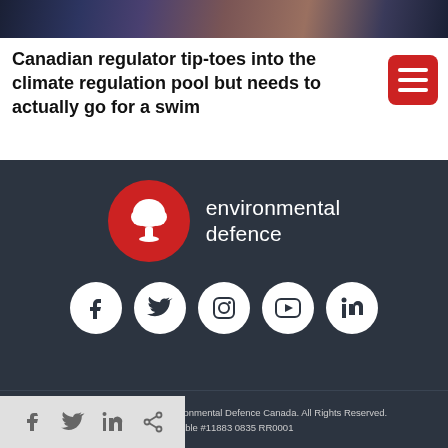[Figure (photo): Dark banner image showing electronic/circuit board textures in dark blue and brown tones]
Canadian regulator tip-toes into the climate regulation pool but needs to actually go for a swim
[Figure (logo): Environmental Defence Canada logo: red circle with white tree icon, text 'environmental defence' in white on dark background]
[Figure (infographic): Social media icons: Facebook, Twitter, Instagram, YouTube, LinkedIn — white icons on white circles on dark background]
Copyright © 2010-2022 Environmental Defence Canada. All Rights Reserved. Charitable #11883 0835 RR0001
[Figure (infographic): Share bar with Facebook, Twitter, LinkedIn and share icons]